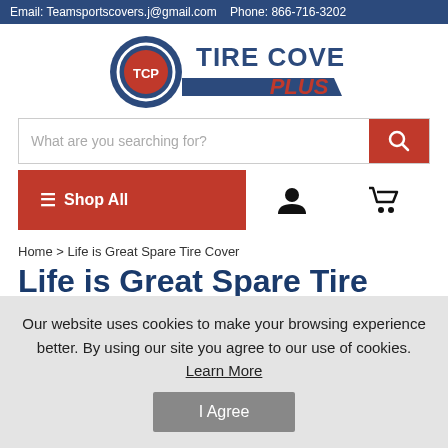Email: Teamsportscovers.j@gmail.com   Phone: 866-716-3202
[Figure (logo): Tire Covers Plus logo with TCP emblem in blue circle and red/blue text]
What are you searching for?
☰ Shop All
Home > Life is Great Spare Tire Cover
Life is Great Spare Tire Cover
Our website uses cookies to make your browsing experience better. By using our site you agree to our use of cookies. Learn More
I Agree